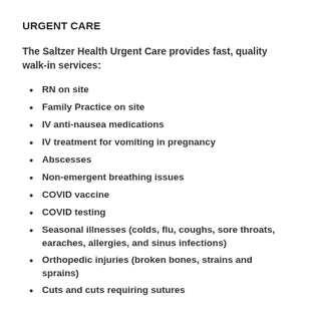URGENT CARE
The Saltzer Health Urgent Care provides fast, quality walk-in services:
RN on site
Family Practice on site
IV anti-nausea medications
IV treatment for vomiting in pregnancy
Abscesses
Non-emergent breathing issues
COVID vaccine
COVID testing
Seasonal illnesses (colds, flu, coughs, sore throats, earaches, allergies, and sinus infections)
Orthopedic injuries (broken bones, strains and sprains)
Cuts and cuts requiring sutures